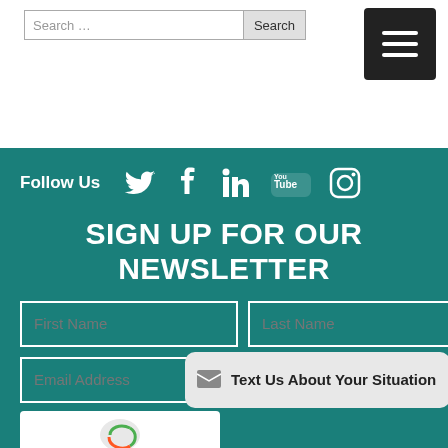[Figure (screenshot): Search bar with text input and Search button, plus a hamburger menu button (dark square with three white lines) in the top-right corner]
Follow Us
[Figure (infographic): Social media icons: Twitter, Facebook, LinkedIn, YouTube, Instagram — all white on teal background]
SIGN UP FOR OUR NEWSLETTER
[Figure (screenshot): Newsletter signup form with First Name, Last Name, and Email Address fields, plus a 'Text Us About Your Situation' button and reCAPTCHA at bottom]